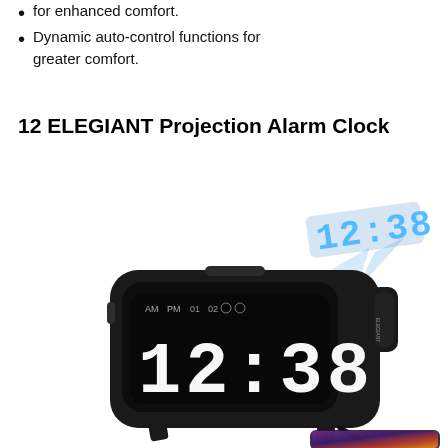for enhanced comfort.
Dynamic auto-control functions for greater comfort.
12 ELEGIANT Projection Alarm Clock
[Figure (photo): Photo of an ELEGIANT projection alarm clock showing digital time 12:38 on its LED display and projecting 12:38 onto the ceiling via blue light. A USB cable connects to a smartphone placed below the clock.]